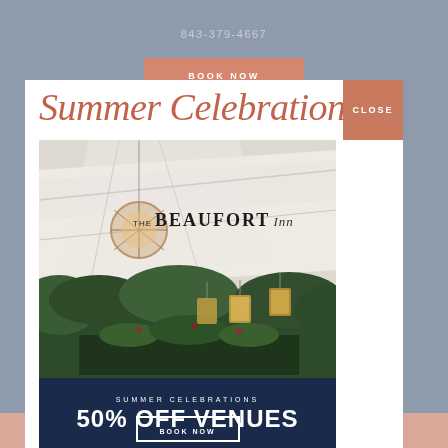843-379-4667
BOOK NOW
Summer Celebrations
CLOSE
[Figure (photo): The Beaufort Inn tent venue decorated with hanging lanterns and draped white fabric ceiling, green foliage, candles]
SUMMER CELEBRATIONS
50% OFF VENUES
BOOK NOW